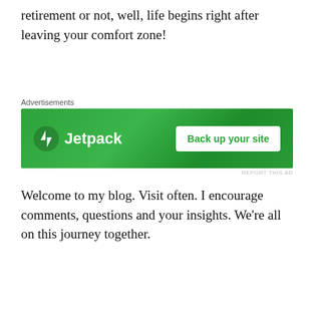retirement or not, well, life begins right after leaving your comfort zone!
[Figure (screenshot): Jetpack advertisement banner with green background showing Jetpack logo and 'Back up your site' button]
Welcome to my blog. Visit often. I encourage comments, questions and your insights. We're all on this journey together.
Copyright 2022 Kathy Merlino All Rights Reserved
[Figure (screenshot): WordPress advertisement banner with dark navy background showing WordPress logo]
Advertisements